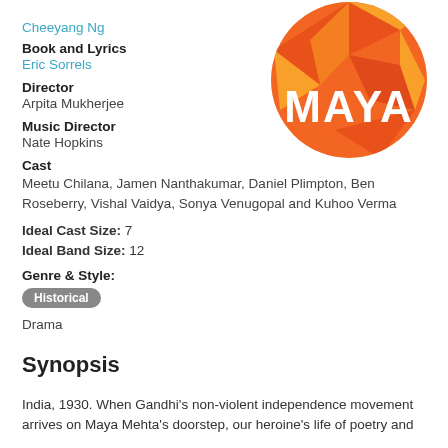Cheeyang Ng
Book and Lyrics
Eric Sorrels
Director
Arpita Mukherjee
Music Director
Nate Hopkins
Cast
Meetu Chilana, Jamen Nanthakumar, Daniel Plimpton, Ben Roseberry, Vishal Vaidya, Sonya Venugopal and Kuhoo Verma
Ideal Cast Size: 7
Ideal Band Size: 12
Genre & Style:
Historical
Drama
[Figure (logo): MAYA musical logo: orange circle with white text MAYA and geometric faceted pattern]
Synopsis
India, 1930. When Gandhi's non-violent independence movement arrives on Maya Mehta's doorstep, our heroine's life of poetry and